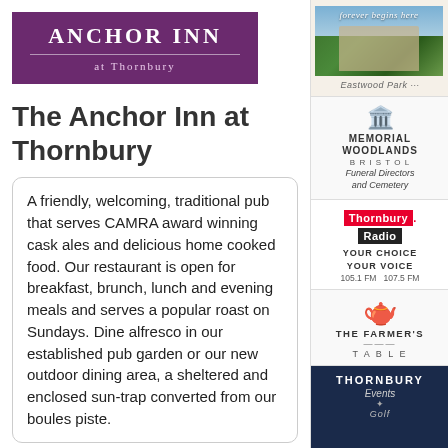[Figure (logo): Anchor Inn at Thornbury purple logo banner]
The Anchor Inn at Thornbury
A friendly, welcoming, traditional pub that serves CAMRA award winning cask ales and delicious home cooked food. Our restaurant is open for breakfast, brunch, lunch and evening meals and serves a popular roast on Sundays. Dine alfresco in our established pub garden or our new outdoor dining area, a sheltered and enclosed sun-trap converted from our boules piste.
The Snug Bar hosts regular events and
[Figure (illustration): Eastwood Park advertisement - forever begins here]
[Figure (logo): Memorial Woodlands Bristol - Funeral Directors and Cemetery advertisement]
[Figure (logo): Thornbury Radio - YOUR CHOICE YOUR VOICE 105.1 FM 107.5 FM]
[Figure (logo): The Farmer's Table advertisement]
[Figure (logo): Thornbury Events Golf advertisement]